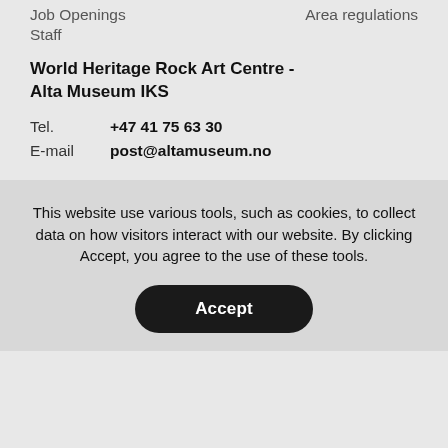Job Openings
Area regulations
Staff
World Heritage Rock Art Centre -
Alta Museum IKS
Tel.   +47 41 75 63 30
E-mail   post@altamuseum.no
This website use various tools, such as cookies, to collect data on how visitors interact with our website. By clicking Accept, you agree to the use of these tools.
Accept